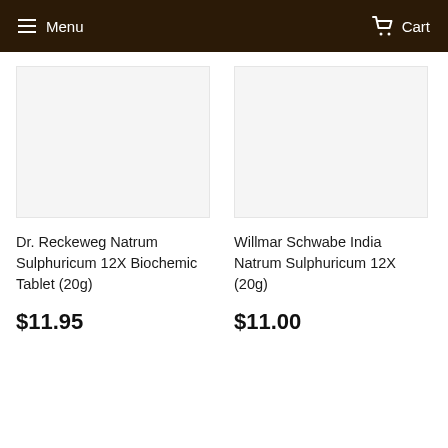Menu   Cart
Dr. Reckeweg Natrum Sulphuricum 12X Biochemic Tablet (20g)
$11.95
Willmar Schwabe India Natrum Sulphuricum 12X (20g)
$11.00